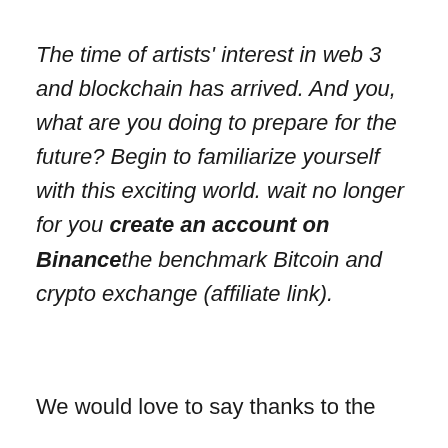The time of artists' interest in web 3 and blockchain has arrived. And you, what are you doing to prepare for the future? Begin to familiarize yourself with this exciting world. wait no longer for you create an account on Binancethe benchmark Bitcoin and crypto exchange (affiliate link).
We would love to say thanks to the